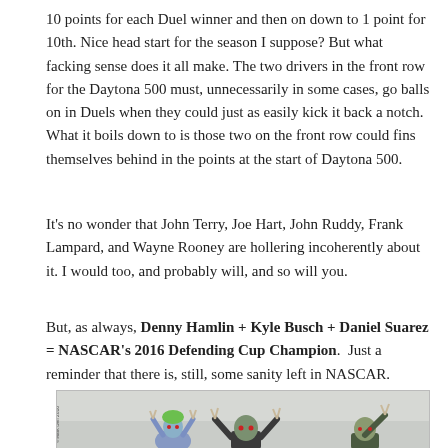10 points for each Duel winner and then on down to 1 point for 10th. Nice head start for the season I suppose? But what facking sense does it all make. The two drivers in the front row for the Daytona 500 must, unnecessarily in some cases, go balls on in Duels when they could just as easily kick it back a notch. What it boils down to is those two on the front row could fins themselves behind in the points at the start of Daytona 500.
It's no wonder that John Terry, Joe Hart, John Ruddy, Frank Lampard, and Wayne Rooney are hollering incoherently about it. I would too, and probably will, and so will you.
But, as always, Denny Hamlin + Kyle Busch + Daniel Suarez = NASCAR's 2016 Defending Cup Champion.  Just a reminder that there is, still, some sanity left in NASCAR.
[Figure (photo): Photo showing three costumed figures (appearing to be in Halloween masks/costumes) making peace signs with their hands. One has a green wig, one is in the center in darker clothing, one is on the right. Background appears light/foggy.]